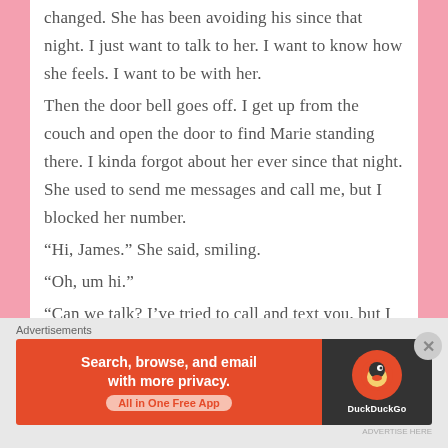changed. She has been avoiding his since that night. I just want to talk to her. I want to know how she feels. I want to be with her.
Then the door bell goes off. I get up from the couch and open the door to find Marie standing there. I kinda forgot about her ever since that night. She used to send me messages and call me, but I blocked her number.
“Hi, James.” She said, smiling.
“Oh, um hi.”
“Can we talk? I’ve tried to call and text you, but I never got a response. So, that’s why I’m here.”
“To talk about what? Why I dumped you?” Once I said that, it got Marie’s attention. “Really? Why
Advertisements
[Figure (screenshot): DuckDuckGo advertisement banner: orange left panel with text 'Search, browse, and email with more privacy. All in One Free App' and dark right panel with DuckDuckGo logo]